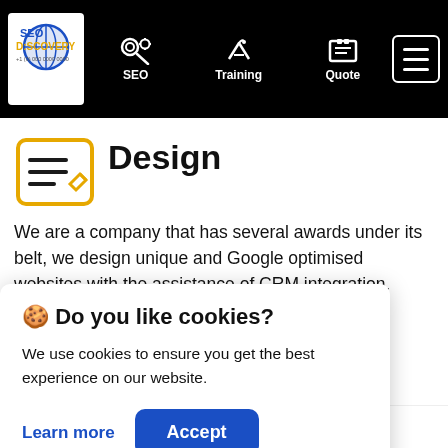SEO Discovery — Navigation bar with SEO, Training, Quote links and hamburger menu
Design
We are a company that has several awards under its belt, we design unique and Google optimised websites with the assistance of CRM integration.
🍪 Do you like cookies?
We use cookies to ensure you get the best experience on our website.
Learn more   Accept
want it and Google likes to increase